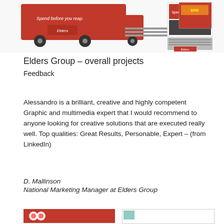[Figure (photo): Marketing collateral for Elders Group including a red truck with 'Spend before you reap' text, printed advertisements and branded materials]
Elders Group – overall projects
Feedback
Alessandro is a brilliant, creative and highly competent Graphic and multimedia expert that I would recommend to anyone looking for creative solutions that are executed really well. Top qualities: Great Results, Personable, Expert – (from LinkedIn)
D. Mallinson
National Marketing Manager at Elders Group
[Figure (photo): Red branded marketing material with chicken graphics]
[Figure (photo): Small thumbnail image]